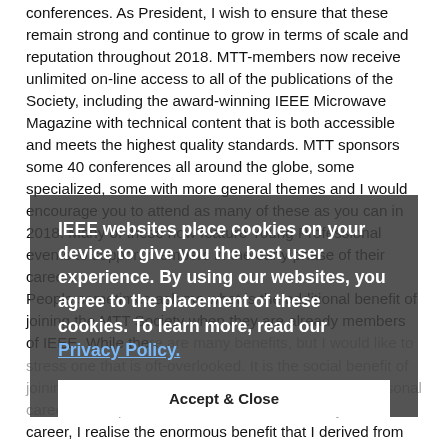conferences. As President, I wish to ensure that these remain strong and continue to grow in terms of scale and reputation throughout 2018. MTT-members now receive unlimited on-line access to all of the publications of the Society, including the award-winning IEEE Microwave Magazine with technical content that is both accessible and meets the highest quality standards. MTT sponsors some 40 conferences all around the globe, some specialized, some with more general themes and I would encourage you to attend as many of these as you can in 2018. Many of these now feature Young Professional events to support members in the early phase of their careers.
People sometimes ask me what is the additional benefit of joining the MTT Society when they are already members of IEEE. While there are many benefits, but I would like to stress one that is oft-overlooked. It is the social benefit of joining a network that can greatly help you in your personal career development. When I look back over my own career, I realise the enormous benefit that I derived from my involvement in MTT. This started as a student member and developed through my engagement with my local Chapter. The Chapter is the fundamental organisational unit of MTT; there are some 200 of the
IEEE websites place cookies on your device to give you the best user experience. By using our websites, you agree to the placement of these cookies. To learn more, read our Privacy Policy.
Accept & Close